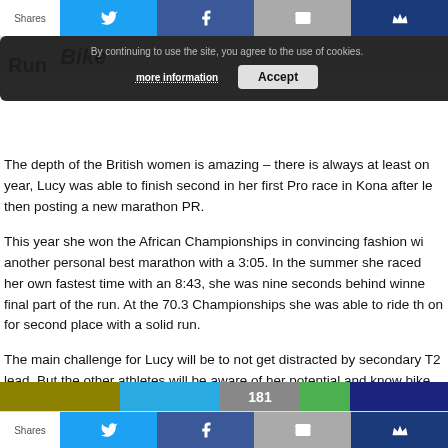Shares | Twitter | Facebook | Email | Crown
By continuing to use the site, you agree to the use of cookies. more information  Accept
The depth of the British women is amazing – there is always at least one year, Lucy was able to finish second in her first Pro race in Kona after le then posting a new marathon PR.
This year she won the African Championships in convincing fashion wi another personal best marathon with a 3:05. In the summer she raced her own fastest time with an 8:43, she was nine seconds behind winne final part of the run. At the 70.3 Championships she was able to ride th on for second place with a solid run.
The main challenge for Lucy will be to not get distracted by secondary T2 lead. But the other athletes will be aware of her potential and know bike in order to have a chance to run her down in the marathon. But if L another marathon PR in the Kona heat, she will be a strong podium con
Shares | Twitter | Facebook | Email | Crown